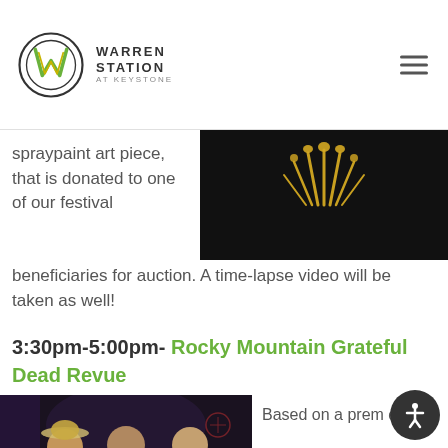Warren Station at Keystone
spraypaint art piece, that is donated to one of our festival beneficiaries for auction. A time-lapse video will be taken as well!
[Figure (photo): Dark photo showing decorative spoon/cutlery art installation with golden lighting against dark background]
3:30pm-5:00pm- Rocky Mountain Grateful Dead Revue
[Figure (photo): Photo of three smiling band members at a music venue, dimly lit concert environment]
Based on a prem of